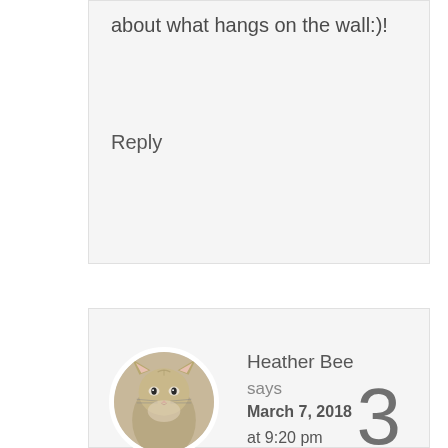about what hangs on the wall:)!
Reply
Heather Bee says March 7, 2018 at 9:20 pm
3
[Figure (photo): Circular avatar photo of a kitten looking at the camera]
Oh my goodness! The deer pelts in the trunk... I can't even imagine! And Matt sure must know his fried chicken; I think I might be able to get away with that one!